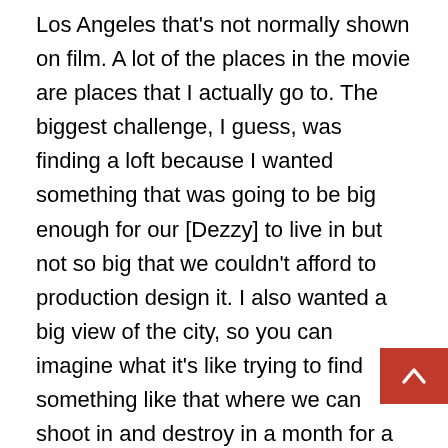Los Angeles that's not normally shown on film. A lot of the places in the movie are places that I actually go to. The biggest challenge, I guess, was finding a loft because I wanted something that was going to be big enough for our [Dezzy] to live in but not so big that we couldn't afford to production design it. I also wanted a big view of the city, so you can imagine what it's like trying to find something like that where we can shoot in and destroy in a month for a very limited budget. And then doing the band thing, like booking the band, that was a pain in the ass because we couldn't really rent a venue. What we did was we just book a band in an actual bar downtown and just got waivers to shoot it like it was a documentary. So we were shooting in a live, open bar with a band playing during that who sequence. A lot of those people in there are just people